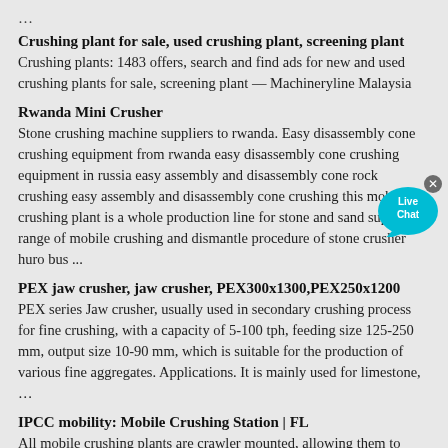…
Crushing plant for sale, used crushing plant, screening plant
Crushing plants: 1483 offers, search and find ads for new and used crushing plants for sale, screening plant — Machineryline Malaysia
Rwanda Mini Crusher
Stone crushing machine suppliers to rwanda. Easy disassembly cone crushing equipment from rwanda easy disassembly cone crushing equipment in russia easy assembly and disassembly cone rock crushing easy assembly and disassembly cone crushing this mobile crushing plant is a whole production line for stone and sand supply range of mobile crushing and dismantle procedure of stone crusher huro bus ...
[Figure (other): Live Chat bubble button overlay in teal/cyan color]
PEX jaw crusher, jaw crusher, PEX300x1300,PEX250x1200
PEX series Jaw crusher, usually used in secondary crushing process for fine crushing, with a capacity of 5-100 tph, feeding size 125-250 mm, output size 10-90 mm, which is suitable for the production of various fine aggregates. Applications. It is mainly used for limestone, …
IPCC mobility: Mobile Crushing Station | FL
All mobile crushing plants are crawler mounted, allowing them to directly follow the loading equipment. With our Mobile Crushing Station, you periodically advance the station